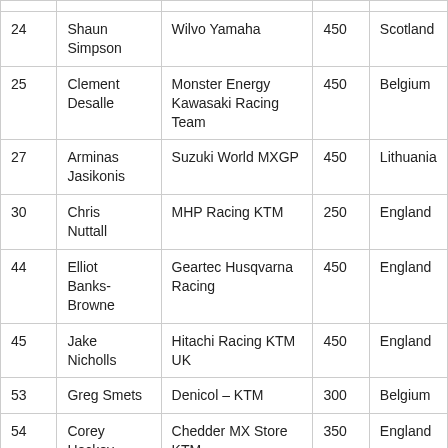| # | Name | Team | cc | Country |
| --- | --- | --- | --- | --- |
| 24 | Shaun Simpson | Wilvo Yamaha | 450 | Scotland |
| 25 | Clement Desalle | Monster Energy Kawasaki Racing Team | 450 | Belgium |
| 27 | Arminas Jasikonis | Suzuki World MXGP | 450 | Lithuania |
| 30 | Chris Nuttall | MHP Racing KTM | 250 | England |
| 44 | Elliot Banks-Browne | Geartec Husqvarna Racing | 450 | England |
| 45 | Jake Nicholls | Hitachi Racing KTM UK | 450 | England |
| 53 | Greg Smets | Denicol – KTM | 300 | Belgium |
| 54 | Corey Hockey | Chedder MX Store KTM | 350 | England |
| 55 | Mike K… | CL18 KTM Racing | 350 | Holl… |